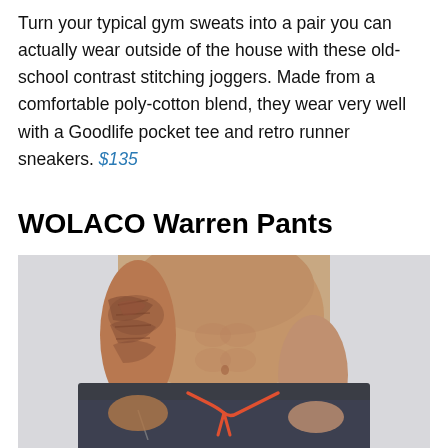Turn your typical gym sweats into a pair you can actually wear outside of the house with these old-school contrast stitching joggers. Made from a comfortable poly-cotton blend, they wear very well with a Goodlife pocket tee and retro runner sneakers. $135
WOLACO Warren Pants
[Figure (photo): A shirtless male model with tattoos on his left arm wearing dark charcoal/grey WOLACO Warren Pants with an orange/red drawstring, with hands in pockets, against a light grey background.]